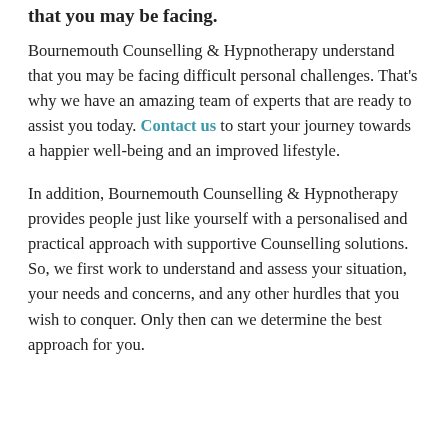that you may be facing.
Bournemouth Counselling & Hypnotherapy understand that you may be facing difficult personal challenges. That's why we have an amazing team of experts that are ready to assist you today. Contact us to start your journey towards a happier well-being and an improved lifestyle.
In addition, Bournemouth Counselling & Hypnotherapy provides people just like yourself with a personalised and practical approach with supportive Counselling solutions. So, we first work to understand and assess your situation, your needs and concerns, and any other hurdles that you wish to conquer. Only then can we determine the best approach for you.